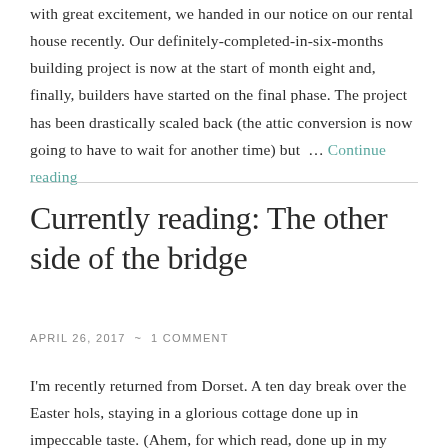with great excitement, we handed in our notice on our rental house recently. Our definitely-completed-in-six-months building project is now at the start of month eight and, finally, builders have started on the final phase. The project has been drastically scaled back (the attic conversion is now going to have to wait for another time) but … Continue reading
Currently reading: The other side of the bridge
April 26, 2017 ~ 1 Comment
I'm recently returned from Dorset. A ten day break over the Easter hols, staying in a glorious cottage done up in impeccable taste. (Ahem, for which read, done up in my exact